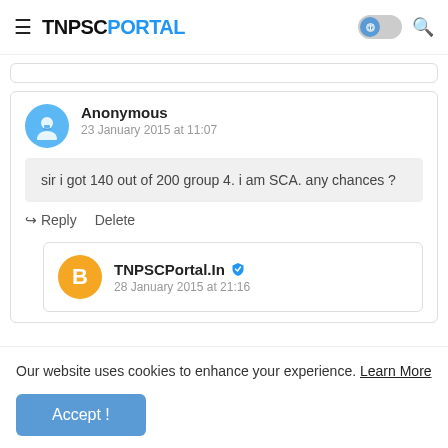TNPSC PORTAL
Anonymous
23 January 2015 at 11:07
sir i got 140 out of 200 group 4. i am SCA. any chances ?
Reply   Delete
TNPSCPortal.In
28 January 2015 at 21:16
Our website uses cookies to enhance your experience. Learn More
Accept !